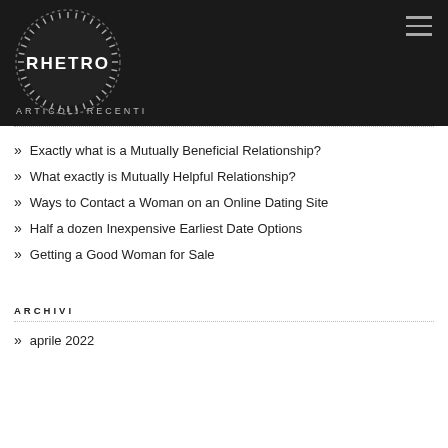RHETRO
ARTICOLI RECENTI
Exactly what is a Mutually Beneficial Relationship?
What exactly is Mutually Helpful Relationship?
Ways to Contact a Woman on an Online Dating Site
Half a dozen Inexpensive Earliest Date Options
Getting a Good Woman for Sale
ARCHIVI
aprile 2022